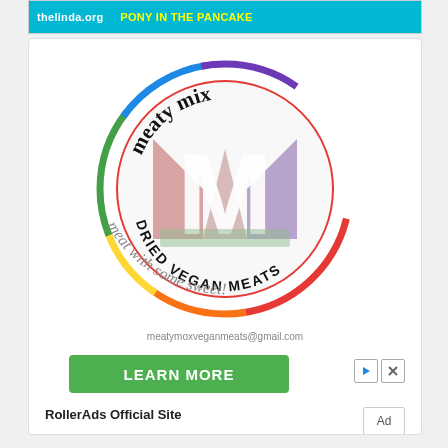[Figure (advertisement): Top banner ad with cyan background showing 'thelinda.org · PONY IN THE PANCAKE' text in white]
[Figure (logo): Meaty Mix Dried Vegan Meats circular logo with colorful M letter in center, surrounded by text 'meaty mix' and 'DRIED VEGAN MEATS' and tagline 'meat with some sweet!']
meatymoxveganmeats@gmail.com
[Figure (advertisement): Green LEARN MORE button advertisement with RollerAds close icons]
RollerAds Official Site
Ad